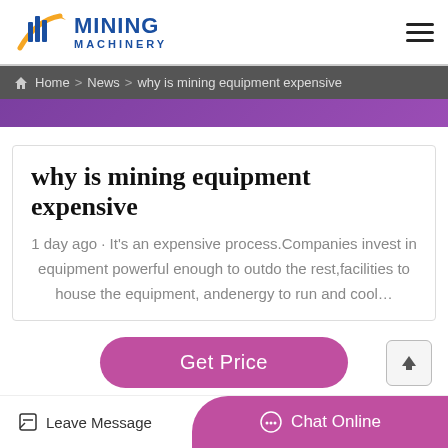MINING MACHINERY
Home > News > why is mining equipment expensive
why is mining equipment expensive
1 day ago · It's an expensive process.Companies invest in equipment powerful enough to outdo the rest,facilities to house the equipment, andenergy to run and cool…
Get Price
Leave Message   Chat Online